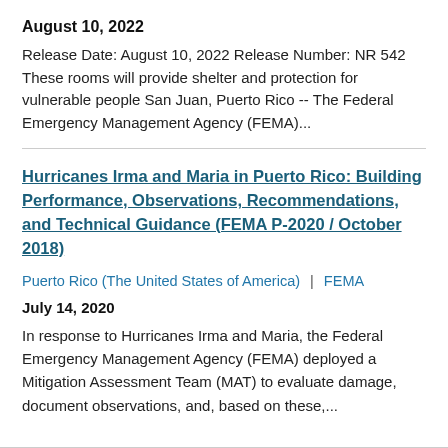August 10, 2022
Release Date: August 10, 2022 Release Number: NR 542 These rooms will provide shelter and protection for vulnerable people San Juan, Puerto Rico -- The Federal Emergency Management Agency (FEMA)...
Hurricanes Irma and Maria in Puerto Rico: Building Performance, Observations, Recommendations, and Technical Guidance (FEMA P-2020 / October 2018)
Puerto Rico (The United States of America)  |  FEMA
July 14, 2020
In response to Hurricanes Irma and Maria, the Federal Emergency Management Agency (FEMA) deployed a Mitigation Assessment Team (MAT) to evaluate damage, document observations, and, based on these,...